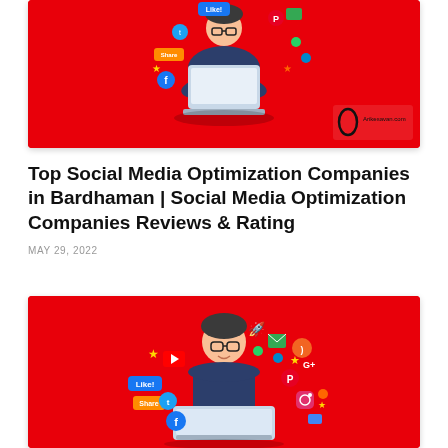[Figure (illustration): Red background social media illustration showing a person sitting cross-legged using a laptop surrounded by social media icons (Like, Share, Twitter, Facebook, Pinterest, etc.). Bottom right has a logo with oval shape and text 'Arikesavan.com']
Top Social Media Optimization Companies in Bardhaman | Social Media Optimization Companies Reviews & Rating
MAY 29, 2022
[Figure (illustration): Red background social media illustration showing a person wearing glasses sitting at a desk using a laptop surrounded by social media icons (Like, Share, YouTube, Twitter, Facebook, Pinterest, Instagram, RSS, etc.)]